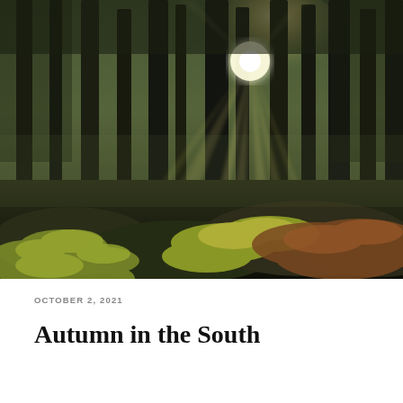[Figure (photo): Sunlit autumn forest with tall dark tree trunks, golden sunbeams streaming through misty air, and lush green and reddish-brown ferns covering the forest floor in foreground.]
OCTOBER 2, 2021
Autumn in the South